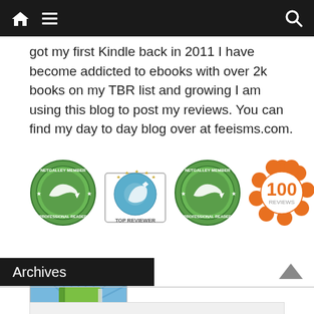[navigation bar with home icon, menu icon, search icon]
got my first Kindle back in 2011 I have become addicted to ebooks with over 2k books on my TBR list and growing I am using this blog to post my reviews. You can find my day to day blog over at feeisms.com.
[Figure (other): Four badges in a row: NetGalley Member Professional Reader badge (green circular), NetGalley Top Reviewer badge (blue circular with stars), NetGalley Member Professional Reader badge (green circular), and 100 Reviews badge (orange flower shape)]
[Figure (other): Advocate badge: a square badge with a green book and purple figure illustration, labeled ADVOCATE]
Archives